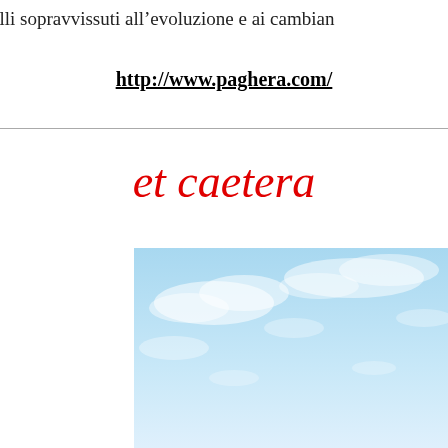quelli sopravvissuti all’evoluzione e ai cambian
http://www.paghera.com/
et caetera
[Figure (photo): Photo of a blue sky with scattered white clouds, cropped to show upper portion.]